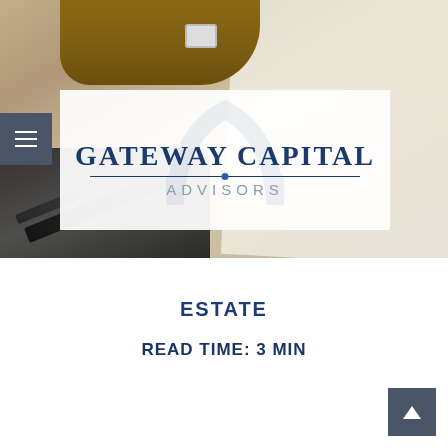[Figure (photo): Hero photo of hands near a laptop keyboard and handwritten notes on paper, with a watch visible. Gateway Capital Advisors logo overlaid on white semi-transparent box with a St. Louis arch graphic in the background of the logo. Hamburger menu icon on left side.]
ESTATE
READ TIME: 3 MIN